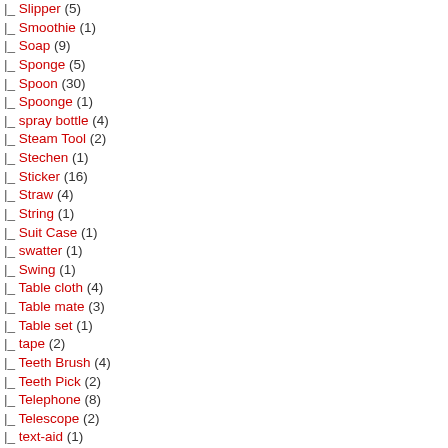|- Slipper (5)
|- Smoothie (1)
|- Soap (9)
|- Sponge (5)
|- Spoon (30)
|- Spoonge (1)
|- spray bottle (4)
|- Steam Tool (2)
|- Stechen (1)
|- Sticker (16)
|- Straw (4)
|- String (1)
|- Suit Case (1)
|- swatter (1)
|- Swing (1)
|- Table cloth (4)
|- Table mate (3)
|- Table set (1)
|- tape (2)
|- Teeth Brush (4)
|- Teeth Pick (2)
|- Telephone (8)
|- Telescope (2)
|- text-aid (1)
|- Thermal Cup (207)
|- Tire repair (1)
|- Tissue (1)
|- Toaster (3)
|- Toasting Needle (2)
|- Toilet (5)
|- Toothbrush (3)
|- Toothpaste (1)
|- Towel (5)
|- Tray (3)
|- Trolly  (5)
|- Tweezer (1)
|- Twirly straws (1)
|- Umberlia (1)